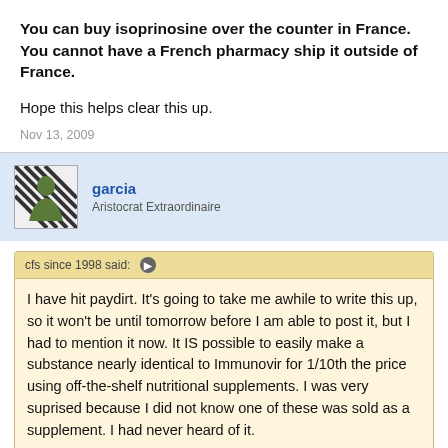You can buy isoprinosine over the counter in France. You cannot have a French pharmacy ship it outside of France.
Hope this helps clear this up.
Nov 13, 2009
garcia
Aristocrat Extraordinaire
cfs since 1998 said: I have hit paydirt. It's going to take me awhile to write this up, so it won't be until tomorrow before I am able to post it, but I had to mention it now. It IS possible to easily make a substance nearly identical to Immunovir for 1/10th the price using off-the-shelf nutritional supplements. I was very suprised because I did not know one of these was sold as a supplement. I had never heard of it.